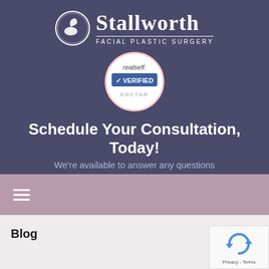[Figure (logo): Stallworth Facial Plastic Surgery logo with swan in circle and text]
[Figure (logo): RealSelf Verified Doctor badge - circular badge with pink border, checkmark, and blue VERIFIED banner]
Schedule Your Consultation, Today!
We're available to answer any questions
210-997-3223 (FACE)
[Figure (other): Hamburger menu icon with three white lines on mauve/purple navigation bar]
Blog
[Figure (other): Google reCAPTCHA widget with Privacy - Terms text]